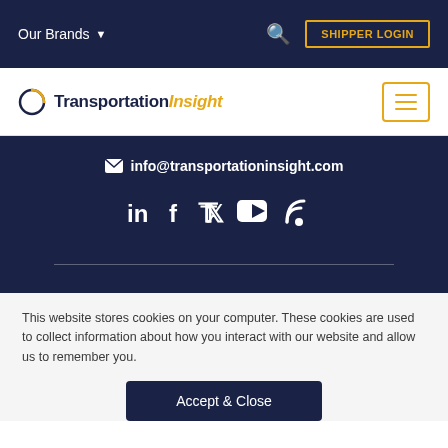Our Brands  SHIPPER LOGIN
[Figure (logo): TransportationInsight logo with circular icon and text]
info@transportationinsight.com
[Figure (illustration): Social media icons: LinkedIn, Facebook, Twitter, YouTube, RSS]
This website stores cookies on your computer. These cookies are used to collect information about how you interact with our website and allow us to remember you.
Accept & Close